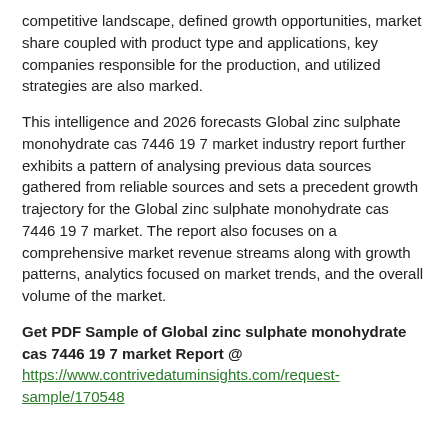competitive landscape, defined growth opportunities, market share coupled with product type and applications, key companies responsible for the production, and utilized strategies are also marked.
This intelligence and 2026 forecasts Global zinc sulphate monohydrate cas 7446 19 7 market industry report further exhibits a pattern of analysing previous data sources gathered from reliable sources and sets a precedent growth trajectory for the Global zinc sulphate monohydrate cas 7446 19 7 market. The report also focuses on a comprehensive market revenue streams along with growth patterns, analytics focused on market trends, and the overall volume of the market.
Get PDF Sample of Global zinc sulphate monohydrate cas 7446 19 7 market Report @ https://www.contrivedatuminsights.com/request-sample/170548